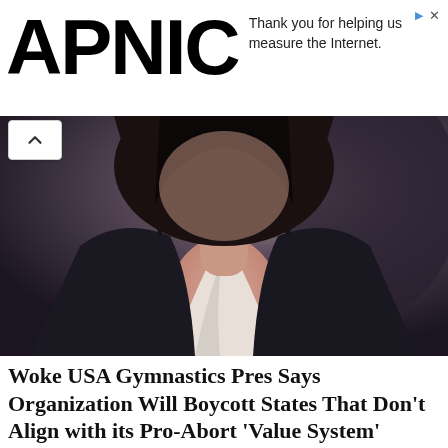APNIC
Thank you for helping us measure the Internet.
[Figure (photo): Close-up photo of a woman in a black blazer and white shirt, viewed from below chin level, with dark blurred background]
Woke USA Gymnastics Pres Says Organization Will Boycott States That Don’t Align with its Pro-Abort ‘Value System’
[Figure (photo): City skyline photo with mountains in the background, likely Anchorage Alaska, showing downtown buildings and blue sky]